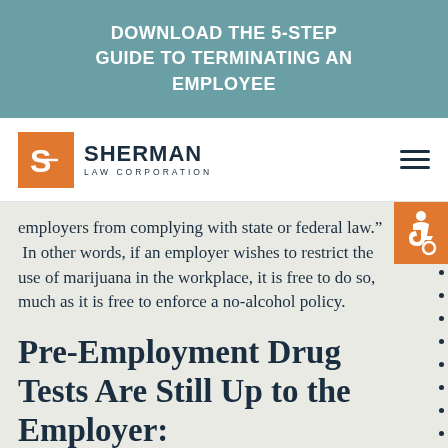DOWNLOAD THE 5-STEP GUIDE TO TERMINATING AN EMPLOYEE
[Figure (logo): Sherman Law Corporation logo with orange S icon and company name]
employers from complying with state or federal law.”  In other words, if an employer wishes to restrict the use of marijuana in the workplace, it is free to do so, much as it is free to enforce a no-alcohol policy.
Pre-Employment Drug Tests Are Still Up to the Employer: